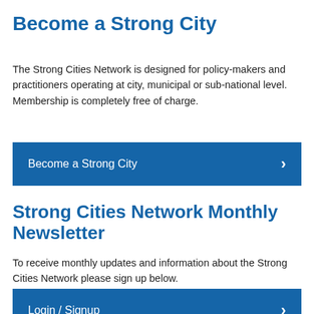Become a Strong City
The Strong Cities Network is designed for policy-makers and practitioners operating at city, municipal or sub-national level. Membership is completely free of charge.
Become a Strong City
Strong Cities Network Monthly Newsletter
To receive monthly updates and information about the Strong Cities Network please sign up below.
Login / Signup